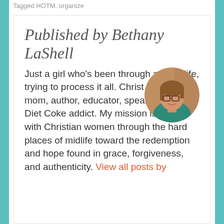Tagged HOTM, organize
Published by Bethany LaShell
[Figure (photo): Circular headshot photo of a woman with glasses wearing a teal top, smiling, with a warm brown background]
Just a girl who's been through a lot of life, trying to process it all. Christ follower, mom, author, educator, speaker, editor, Diet Coke addict. My mission is to walk with Christian women through the hard places of midlife toward the redemption and hope found in grace, forgiveness, and authenticity. View all posts by